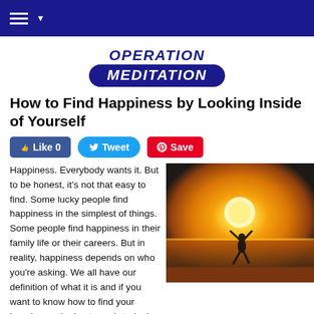Operation Meditation (navigation bar)
OPERATION MEDITATION
How to Find Happiness by Looking Inside of Yourself
[Figure (other): Social share buttons: Like 0 (Facebook, blue), Tweet (Twitter, light blue), Save (Pinterest, red)]
Happiness. Everybody wants it. But to be honest, it's not that easy to find. Some lucky people find happiness in the simplest of things. Some people find happiness in their family life or their careers. But in reality, happiness depends on who you're asking. We all have our definition of what it is and if you want to know how to find your happiness, the best way is to look inside of you.
[Figure (photo): Person jumping on a beach at sunset with arms raised, silhouetted against a golden sun over the ocean.]